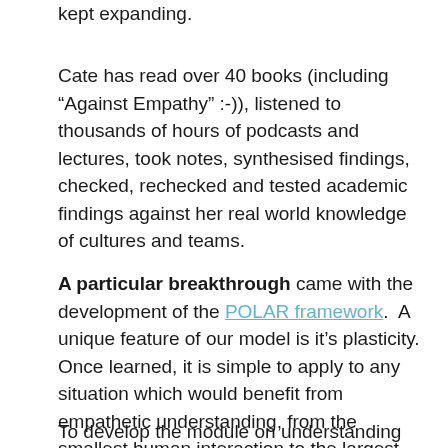kept expanding.
Cate has read over 40 books (including “Against Empathy” :-)), listened to thousands of hours of podcasts and lectures, took notes, synthesised findings, checked, rechecked and tested academic findings against her real world knowledge of cultures and teams.
A particular breakthrough came with the development of the POLAR framework.  A unique feature of our model is it’s plasticity. Once learned, it is simple to apply to any situation which would benefit from empathetic understanding, from the smallest human interaction to the largest system.
To develop the module on understanding